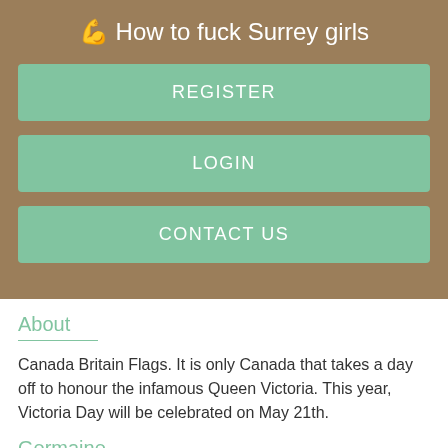💪 How to fuck Surrey girls
REGISTER
LOGIN
CONTACT US
About
Canada Britain Flags. It is only Canada that takes a day off to honour the infamous Queen Victoria. This year, Victoria Day will be celebrated on May 21th.
Germaine
Age:                                                    22